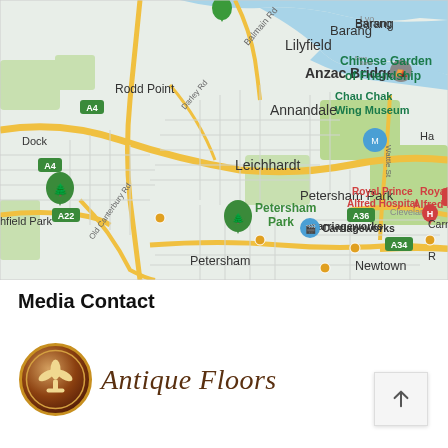[Figure (map): Google Maps screenshot showing Sydney suburbs including Leichhardt, Annandale, Petersham, Newtown, with landmarks such as Royal Prince Alfred Hospital, Anzac Bridge, Chinese Garden of Friendship, Chau Chak Wing Museum, Carriageworks, and Petersham Park. Road labels include A4, A22, A34, A36, Balmain Rd, Darley Rd, Old Canterbury Rd, Wattle St.]
Media Contact
[Figure (logo): Antique Floors logo: circular brown medallion with fleur-de-lis icon, with cursive italic text 'Antique Floors' beside it]